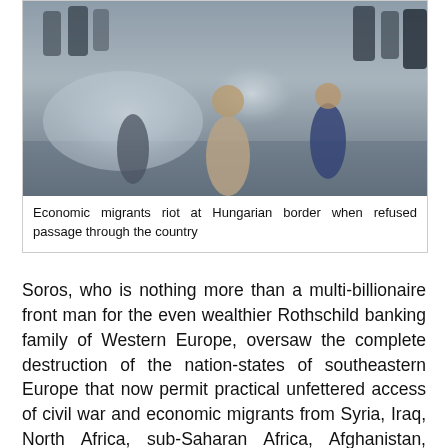[Figure (photo): Crowd scene showing people running through smoke or tear gas at a border crossing, depicting migrants rioting at the Hungarian border]
Economic migrants riot at Hungarian border when refused passage through the country
Soros, who is nothing more than a multi-billionaire front man for the even wealthier Rothschild banking family of Western Europe, oversaw the complete destruction of the nation-states of southeastern Europe that now permit practical unfettered access of civil war and economic migrants from Syria, Iraq, North Africa, sub-Saharan Africa, Afghanistan, Pakistan, Bangladesh, Burma, Sri Lanka, and other war-and poverty-ravaged nations of the Third World.